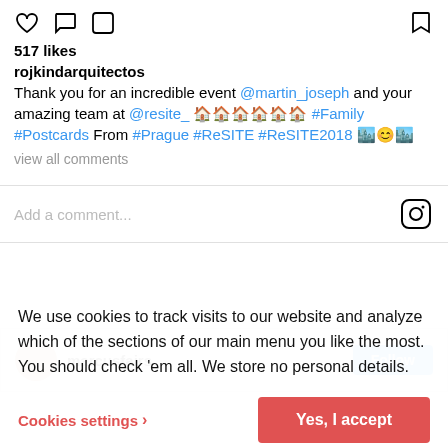517 likes
rojkindarquitectos
Thank you for an incredible event @martin_joseph and your amazing team at @resite_ 🏠🏠🏠🏠🏠🏠 #Family #Postcards From #Prague #ReSITE #ReSITE2018 🏙️😊🏙️
view all comments
Add a comment...
marcusfairs
We use cookies to track visits to our website and analyze which of the sections of our main menu you like the most. You should check 'em all. We store no personal details.
Cookies settings
Yes, I accept